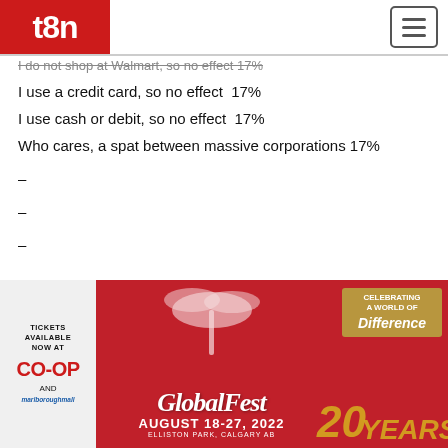t8n
I do not shop at Walmart, so no effect  17%
I use a credit card, so no effect  17%
I use cash or debit, so no effect  17%
Who cares, a spat between massive corporations 17%
–
–
–
[Figure (photo): GlobalFest advertisement banner: red background with palm tree illustration, GlobalFest logo text, '20 Years', 'August 18-27, 2022, Elliston Park, Calgary AB', tickets available at CO-OP and Marlborough Mall, Celebrating a World of Difference gold badge]